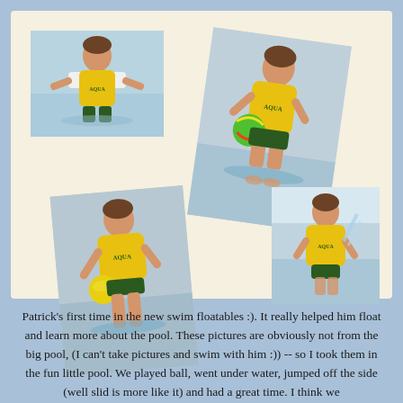[Figure (photo): Collage of four photos of a toddler named Patrick wearing a yellow Aqua swim floatation vest in a shallow pool. Top-left: child standing in water with arms out. Center: child sitting in water holding a colorful ball, photo slightly rotated. Bottom-left: child sitting in water holding a yellow ball, photo slightly rotated. Bottom-right: child standing in shallow water.]
Patrick's first time in the new swim floatables :). It really helped him float and learn more about the pool. These pictures are obviously not from the big pool, (I can't take pictures and swim with him :)) -- so I took them in the fun little pool. We played ball, went under water, jumped off the side (well slid is more like it) and had a great time. I think we